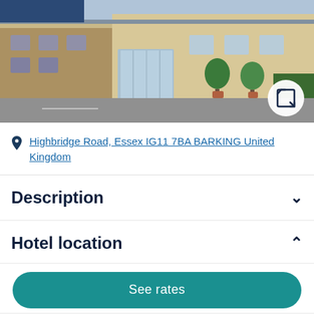[Figure (photo): Exterior photo of a hotel building with brick facade, glass entrance doors, potted topiary trees, and a parking area in front. A white circular expand/fullscreen button is visible in the bottom-right corner of the image.]
Highbridge Road, Essex IG11 7BA BARKING United Kingdom
Description
Hotel location
See rates